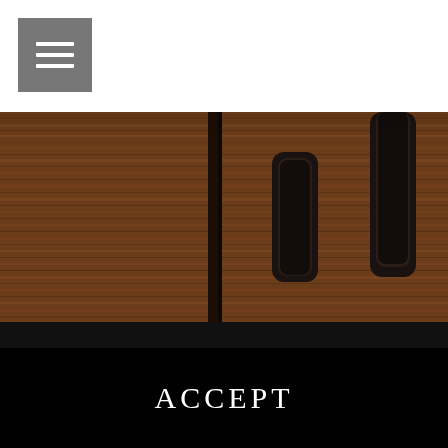[Figure (other): Hamburger menu icon button — white three-line menu icon on a grey square background in top-left corner]
[Figure (photo): Close-up photo of dark walnut wood cabinet doors with two vertical black metal pull handles against a warm brown wood grain background]
In order to provide the best possible provision of our services, we use cookies. By using Orea AG pages and services, you agree that we use cookies. Read more about data protection.
ACCEPT